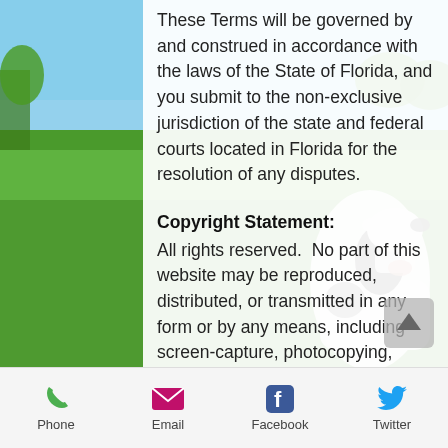These Terms will be governed by and construed in accordance with the laws of the State of Florida, and you submit to the non-exclusive jurisdiction of the state and federal courts located in Florida for the resolution of any disputes.
Copyright Statement:
All rights reserved.  No part of this website may be reproduced, distributed, or transmitted in any form or by any means, including screen-capture, photocopying, recording, or by any means; including mechanical methods, without prior written permission of the website's publisher,  except in the case of brief quotations embodied in critical reviews and certain other
[Figure (photo): Background photo of a dairy cow (black and white) standing in a green field with blue sky, partially visible behind the white content card.]